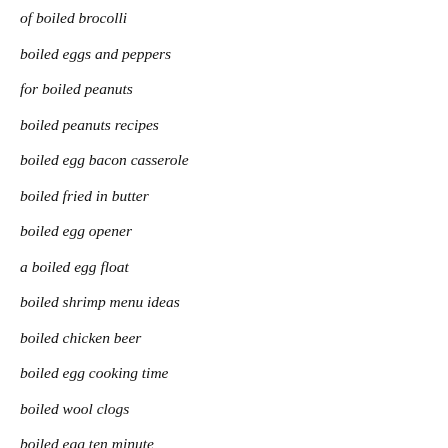of boiled brocolli
boiled eggs and peppers
for boiled peanuts
boiled peanuts recipes
boiled egg bacon casserole
boiled fried in butter
boiled egg opener
a boiled egg float
boiled shrimp menu ideas
boiled chicken beer
boiled egg cooking time
boiled wool clogs
boiled egg ten minute